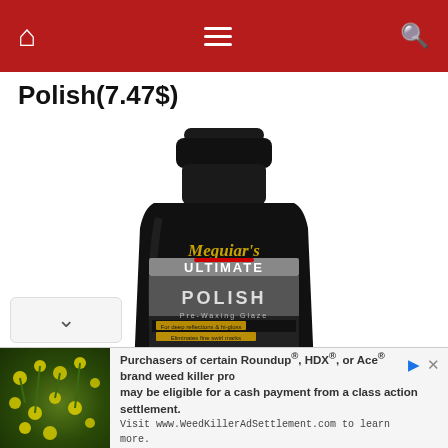Navigation bar with home, menu, and search icons
Polish(7.47$)
[Figure (photo): Meguiar's Ultimate Polish Pre-Waxing Glaze bottle in black with gold and silver label text, showing a car on the label]
v (chevron down button)
Purchasers of certain Roundup®, HDX®, or Ace® brand weed killer products may be eligible for a cash payment from a class action settlement. Visit www.WeedKillerAdSettlement.com to learn more.